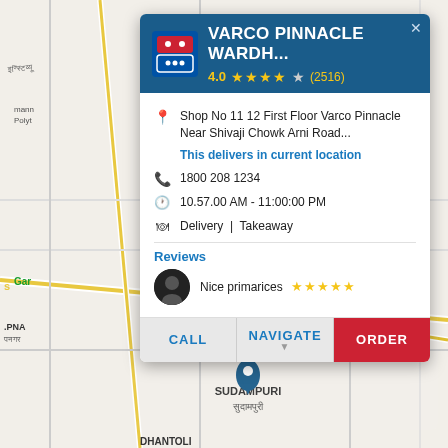[Figure (screenshot): Google Maps interface showing a location in India with street map, place names including SUDAMPURI, DHANTOLI, and partial text for other locations visible in background]
VARCO PINNACLE WARDH...
4.0 ★★★★☆ (2516)
Shop No 11 12 First Floor Varco Pinnacle Near Shivaji Chowk Arni Road...
This delivers in current location
1800 208 1234
10.57.00 AM - 11:00:00 PM
Delivery | Takeaway
Reviews
Nice primarices ★★★★★
CALL   NAVIGATE   ORDER